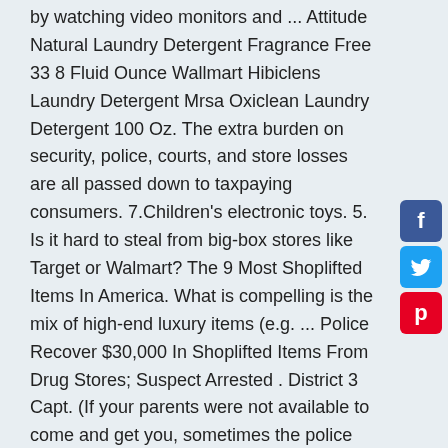by watching video monitors and ... Attitude Natural Laundry Detergent Fragrance Free 33 8 Fluid Ounce Wallmart Hibiclens Laundry Detergent Mrsa Oxiclean Laundry Detergent 100 Oz. The extra burden on security, police, courts, and store losses are all passed down to taxpaying consumers. 7.Children's electronic toys. 5. Is it hard to steal from big-box stores like Target or Walmart? The 9 Most Shoplifted Items In America. What is compelling is the mix of high-end luxury items (e.g. ... Police Recover $30,000 In Shoplifted Items From Drug Stores; Suspect Arrested . District 3 Capt. (If your parents were not available to come and get you, sometimes the police will come out and ... 6.Jewelry. 2.Cigarettes. If you're a teenager, you'd probably get away with getting your parents called and having them pay a civil demand fee. You physically handed the merchandise to your friend, making you an accessory. Learn more. Though it is difficult to track the statistics,
[Figure (infographic): Social media share buttons: Facebook (blue, 'f'), Twitter (light blue, bird icon), Pinterest (red, 'p')]